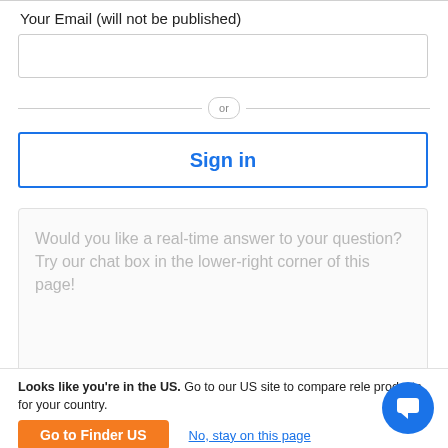Your Email (will not be published)
[Figure (other): Email input text field, empty, with light grey border]
or
Sign in
Would you like a real-time answer to your question? Try our chat box in the lower-right corner of this page!
Looks like you're in the US. Go to our US site to compare rele products for your country.
Go to Finder US
No, stay on this page